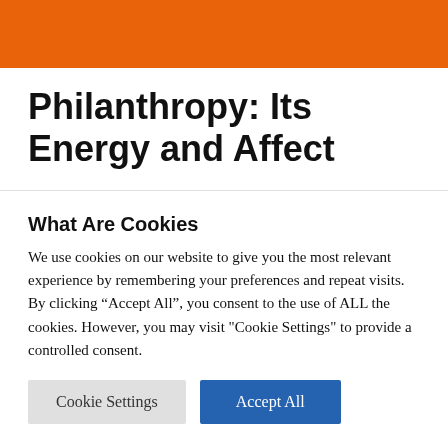Philanthropy: Its Energy and Affect
The place does public energy are living in The us? Energy and affect exist now not most effective
What Are Cookies
We use cookies on our website to give you the most relevant experience by remembering your preferences and repeat visits. By clicking “Accept All”, you consent to the use of ALL the cookies. However, you may visit "Cookie Settings" to provide a controlled consent.